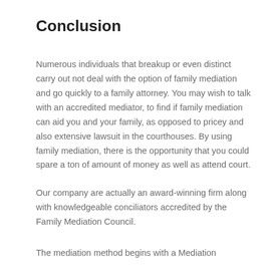Conclusion
Numerous individuals that breakup or even distinct carry out not deal with the option of family mediation and go quickly to a family attorney. You may wish to talk with an accredited mediator, to find if family mediation can aid you and your family, as opposed to pricey and also extensive lawsuit in the courthouses. By using family mediation, there is the opportunity that you could spare a ton of amount of money as well as attend court.
Our company are actually an award-winning firm along with knowledgeable conciliators accredited by the Family Mediation Council.
The mediation method begins with a Mediation